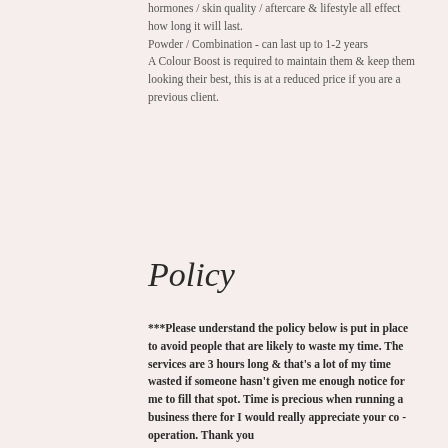hormones / skin quality / aftercare & lifestyle all effect how long it will last.
Powder / Combination - can last up to 1-2 years
A Colour Boost is required to maintain them & keep them looking their best, this is at a reduced price if you are a previous client.
Policy
***Please understand the policy below is put in place to avoid people that are likely to waste my time. The services are 3 hours long & that's a lot of my time wasted if someone hasn't given me enough notice for me to fill that spot. Time is precious when running a business there for I would really appreciate your co - operation. Thank you